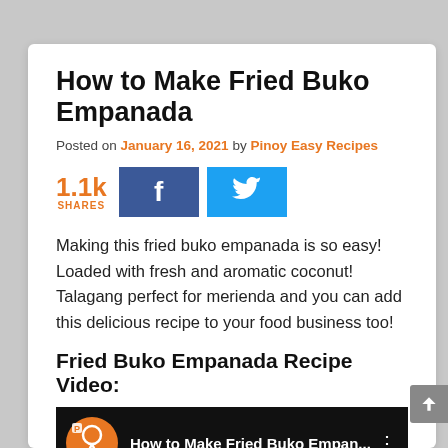How to Make Fried Buko Empanada
Posted on January 16, 2021 by Pinoy Easy Recipes
[Figure (infographic): Social share count showing 1.1k shares, Facebook share button, and Twitter share button]
Making this fried buko empanada is so easy! Loaded with fresh and aromatic coconut! Talagang perfect for merienda and you can add this delicious recipe to your food business too!
Fried Buko Empanada Recipe Video:
[Figure (screenshot): Video thumbnail showing 'How to Make Fried Buko Empan...' with a logo and menu dots on dark background with colorful bottom bar]